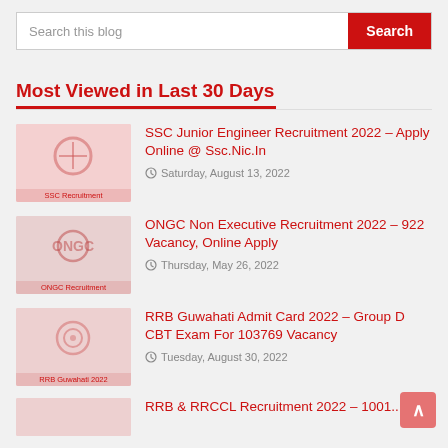Search this blog | Search
Most Viewed in Last 30 Days
SSC Junior Engineer Recruitment 2022 – Apply Online @ Ssc.Nic.In
Saturday, August 13, 2022
ONGC Non Executive Recruitment 2022 – 922 Vacancy, Online Apply
Thursday, May 26, 2022
RRB Guwahati Admit Card 2022 – Group D CBT Exam For 103769 Vacancy
Tuesday, August 30, 2022
RRB & RRCCL Recruitment 2022 – 1001...